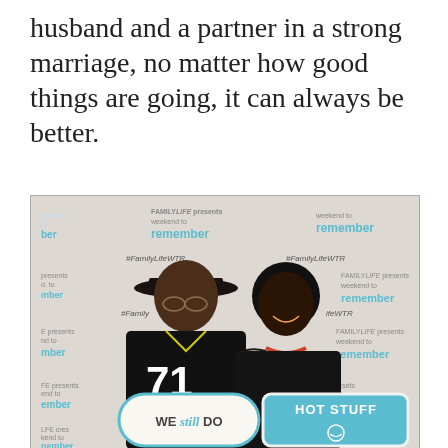husband and a partner in a strong marriage, no matter how good things are going, it can always be better.
[Figure (photo): A couple posing in front of a FamilyLife 'Weekend to Remember' step-and-repeat backdrop. The man on the left wears a Pittsburgh Steelers #71 jersey and a wide-brim hat. The woman on the right wears a black off-shoulder top and a statement necklace. They each hold signs: 'WE still DO' and 'HOT STUFF'.]